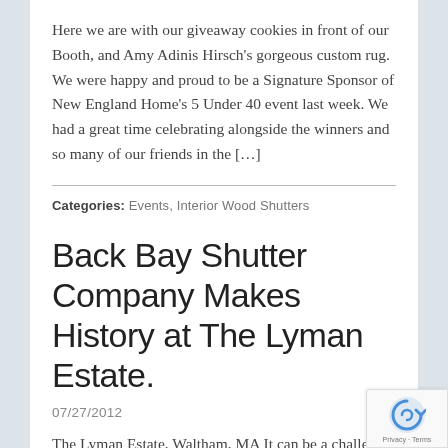Here we are with our giveaway cookies in front of our Booth, and Amy Adinis Hirsch's gorgeous custom rug. We were happy and proud to be a Signature Sponsor of New England Home's 5 Under 40 event last week. We had a great time celebrating alongside the winners and so many of our friends in the […]
Categories: Events, Interior Wood Shutters
Back Bay Shutter Company Makes History at The Lyman Estate.
07/27/2012
The Lyman Estate, Waltham, MA It can be a challenge